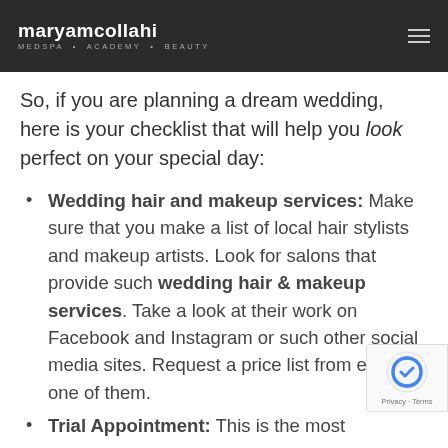maryamcollahi MEDSPA • ACADEMY • BEAUTY
So, if you are planning a dream wedding, here is your checklist that will help you look perfect on your special day:
Wedding hair and makeup services: Make sure that you make a list of local hair stylists and makeup artists. Look for salons that provide such wedding hair & makeup services. Take a look at their work on Facebook and Instagram or such other social media sites. Request a price list from each one of them.
Trial Appointment: This is the most